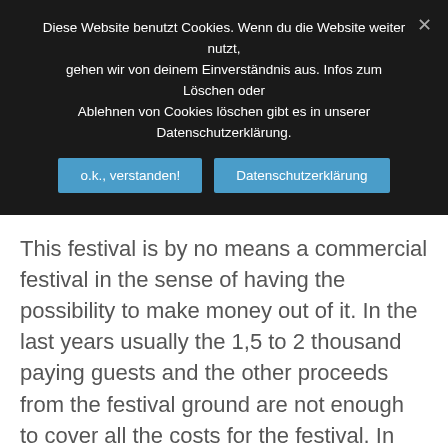Diese Website benutzt Cookies. Wenn du die Website weiter nutzt, gehen wir von deinem Einverständnis aus. Infos zum Löschen oder Ablehnen von Cookies löschen gibt es in unserer Datenschutzerklärung.
This festival is by no means a commercial festival in the sense of having the possibility to make money out of it. In the last years usually the 1,5 to 2 thousand paying guests and the other proceeds from the festival ground are not enough to cover all the costs for the festival. In this case the die-hard fan Wolfhard, owner of a prosperous telecomunication firm, pays the open check from his own money.